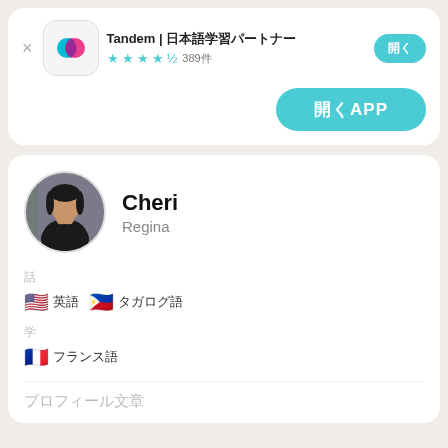[Figure (screenshot): Tandem app header card with logo, title, star rating, and install button]
Tandem | 日本語学習パートナー
★★★★☆ 389件
開く
開くAPP
[Figure (photo): Circular profile photo of a young woman named Cheri]
Cheri
Regina
話
🇺🇸 英語　🇵🇭 タガログ語
学
🇫🇷 フランス語
プロフィール文章